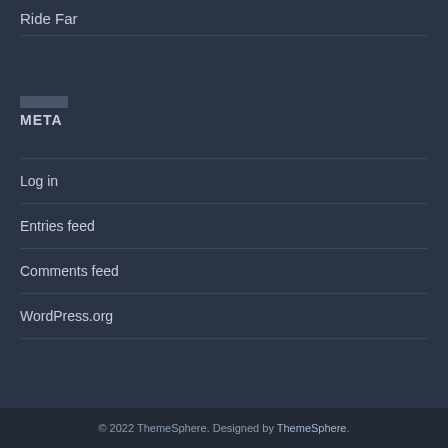Ride Far
META
Log in
Entries feed
Comments feed
WordPress.org
© 2022 ThemeSphere. Designed by ThemeSphere.